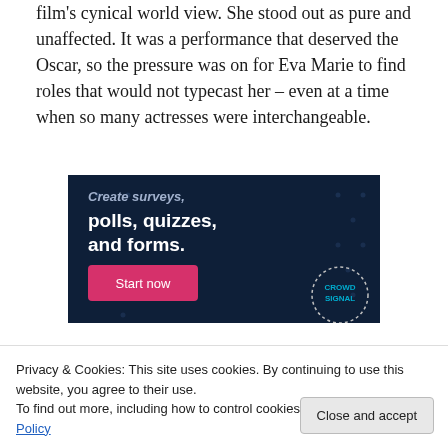film's cynical world view. She stood out as pure and unaffected. It was a performance that deserved the Oscar, so the pressure was on for Eva Marie to find roles that would not typecast her – even at a time when so many actresses were interchangeable.
[Figure (screenshot): Advertisement banner for Crowdsignal with dark navy background, bold white text reading 'Create surveys, polls, quizzes, and forms.' with a pink 'Start now' button and a circular Crowdsignal logo in the lower right.]
Privacy & Cookies: This site uses cookies. By continuing to use this website, you agree to their use.
To find out more, including how to control cookies, see here: Cookie Policy